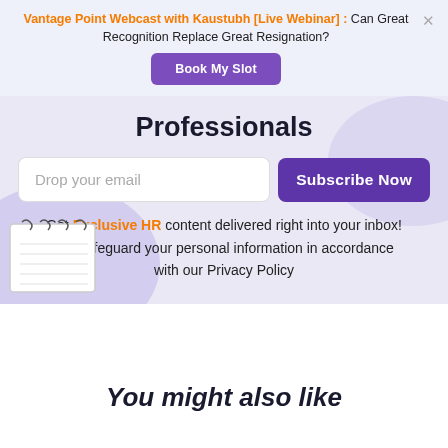Vantage Point Webcast with Kaustubh [Live Webinar] : Can Great Recognition Replace Great Resignation?
Book My Slot
Professionals
Drop your email
Subscribe Now
Get Exclusive HR content delivered right into your inbox! We safeguard your personal information in accordance with our Privacy Policy
[Figure (illustration): Notebook/notepad illustration in lower left of subscribe section]
You might also like